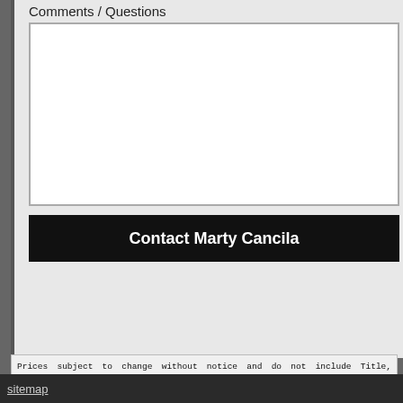Comments / Questions
Prices subject to change without notice and do not include Title, License, Registration Fees, vehicle availability. Although every effort is made to present accurate and reliable information, independent review of its accuracy, completeness, and timeliness. It is the sole responsibility condition before time of sale. Any and all differences must be addressed prior to time of sale. equipment listed is made. EPA mileage estimates for comparison purposes only. Actual m maintenance.
321 page views
sitemap